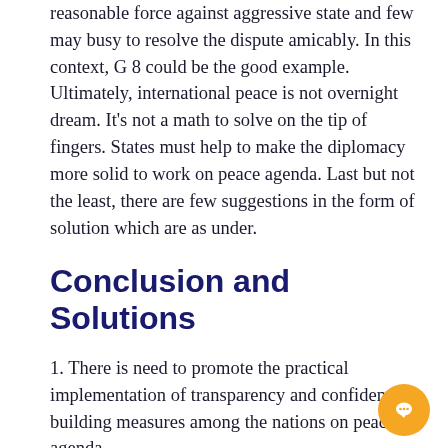reasonable force against aggressive state and few may busy to resolve the dispute amicably. In this context, G 8 could be the good example. Ultimately, international peace is not overnight dream. It's not a math to solve on the tip of fingers. States must help to make the diplomacy more solid to work on peace agenda. Last but not the least, there are few suggestions in the form of solution which are as under.
Conclusion and Solutions
1. There is need to promote the practical implementation of transparency and confidence-building measures among the nations on peace agenda.
2. The States need to have collective input for the diminution of on hand stockpiles of nuclear weapons held by all nuclear weapons states and special attention on